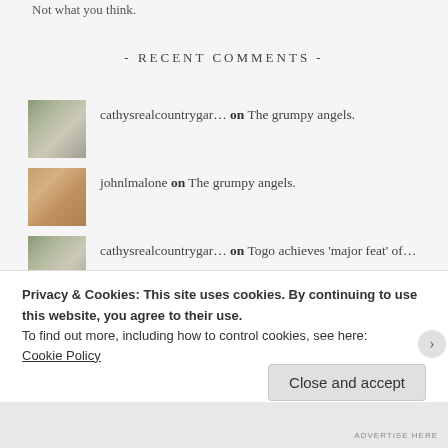Not what you think.
- RECENT COMMENTS -
cathysrealcountrygar… on The grumpy angels.
johnlmalone on The grumpy angels.
cathysrealcountrygar… on Togo achieves 'major feat' of…
cathysrealcountrygar… on The grumpy angels.
Privacy & Cookies: This site uses cookies. By continuing to use this website, you agree to their use.
To find out more, including how to control cookies, see here:
Cookie Policy
Close and accept